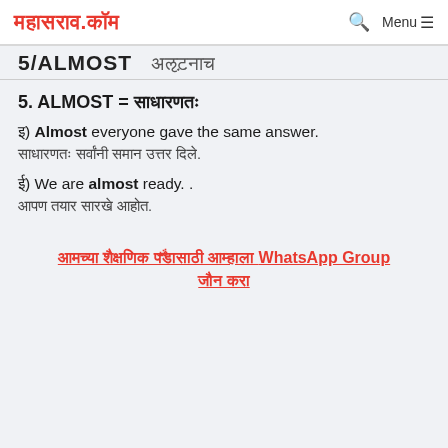महासराव.कॉम  🔍  Menu ☰
5/ALMOST  [Marathi text]
5. ALMOST = [Marathi meaning]
i) Almost everyone gave the same answer.
[Marathi translation]
ii) We are almost ready. .
[Marathi translation]
[Marathi text] WhatsApp Group [Marathi text]